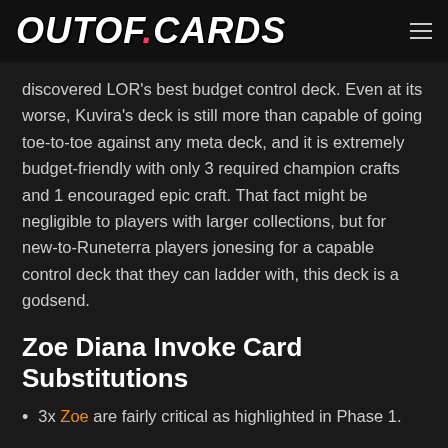OUTOF.CARDS
discovered LOR's best budget control deck. Even at its worse, Kuvira's deck is still more than capable of going toe-to-toe against any meta deck, and it is extremely budget-friendly with only 3 required champion crafts and 1 encouraged epic craft. That fact might be negligible to players with larger collections, but for new-to-Runeterra players jonesing for a capable control deck that they can ladder with, this deck is a godsend.
Zoe Diana Invoke Card Substitutions
3x Zoe are fairly critical as highlighted in Phase 1.